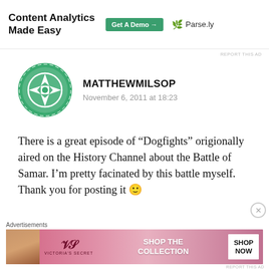[Figure (other): Parse.ly advertisement banner: 'Content Analytics Made Easy' with Get A Demo button and Parse.ly logo]
REPORT THIS AD
MATTHEWMILSOP
November 6, 2011 at 18:23
There is a great episode of “Dogfights” origionally aired on the History Channel about the Battle of Samar. I’m pretty facinated by this battle myself. Thank you for posting it 🙂
Log in to Reply
[Figure (other): Victoria's Secret advertisement banner: Shop The Collection, Shop Now button]